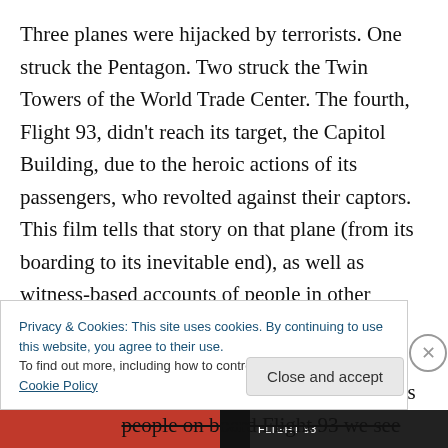Three planes were hijacked by terrorists. One struck the Pentagon. Two struck the Twin Towers of the World Trade Center. The fourth, Flight 93, didn't reach its target, the Capitol Building, due to the heroic actions of its passengers, who revolted against their captors. This film tells that story on that plane (from its boarding to its inevitable end), as well as witness-based accounts of people in other places such as NORAD and air traffic control centers in New York and Boston. It's through these people we see situations advance, and it's through the people on board Flight 93 we see others advance. And
Privacy & Cookies: This site uses cookies. By continuing to use this website, you agree to their use.
To find out more, including how to control cookies, see here: Cookie Policy
Close and accept